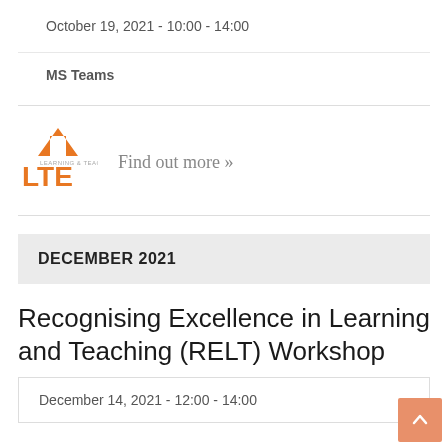October 19, 2021 - 10:00 - 14:00
MS Teams
[Figure (logo): LTE Online logo with orange arrow and text]
Find out more »
DECEMBER 2021
Recognising Excellence in Learning and Teaching (RELT) Workshop
December 14, 2021 - 12:00 - 14:00